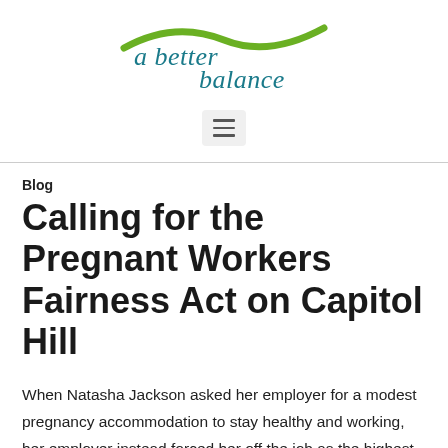[Figure (logo): A Better Balance logo with teal/blue cursive text 'a better balance' and a green swoosh/wave design above]
[Figure (other): Hamburger menu button (three horizontal lines) in a light gray rounded rectangle]
Blog
Calling for the Pregnant Workers Fairness Act on Capitol Hill
When Natasha Jackson asked her employer for a modest pregnancy accommodation to stay healthy and working, her employer instead forced her off the job as the highest